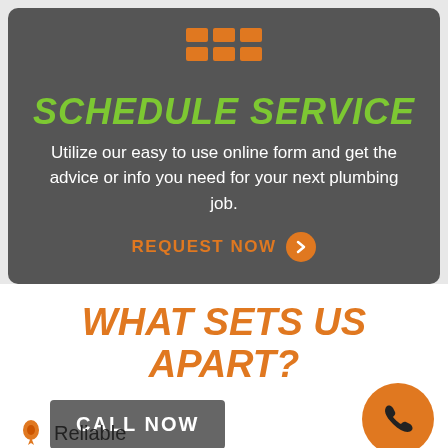[Figure (infographic): Orange grid/table icon made of 6 squares arranged in 2 rows of 3]
SCHEDULE SERVICE
Utilize our easy to use online form and get the advice or info you need for your next plumbing job.
REQUEST NOW
WHAT SETS US APART?
CALL NOW
Reliable